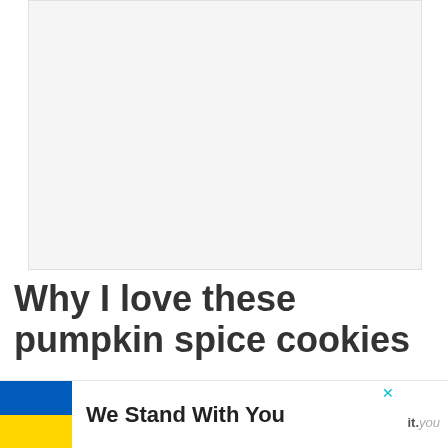[Figure (photo): Large image placeholder area with light gray background, appears to be a food/recipe photo area]
Why I love these pumpkin spice cookies
These are some seriously easy
[Figure (other): We Stand With You banner overlay with Ukrainian flag (blue and yellow) and close button, partial website branding 'it.you']